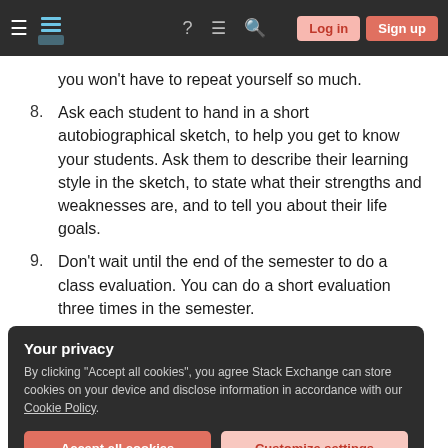Stack Exchange navigation bar with hamburger menu, logo, help, chat, search icons, Log in and Sign up buttons
you won't have to repeat yourself so much.
8. Ask each student to hand in a short autobiographical sketch, to help you get to know your students. Ask them to describe their learning style in the sketch, to state what their strengths and weaknesses are, and to tell you about their life goals.
9. Don't wait until the end of the semester to do a class evaluation. You can do a short evaluation three times in the semester.
Your privacy
By clicking "Accept all cookies", you agree Stack Exchange can store cookies on your device and disclose information in accordance with our Cookie Policy.
Accept all cookies   Customize settings